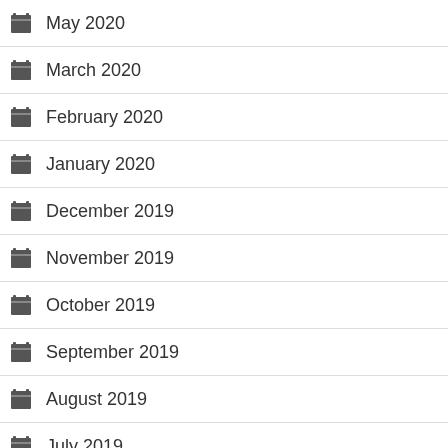May 2020
March 2020
February 2020
January 2020
December 2019
November 2019
October 2019
September 2019
August 2019
July 2019
June 2019
April 2019
March 2019